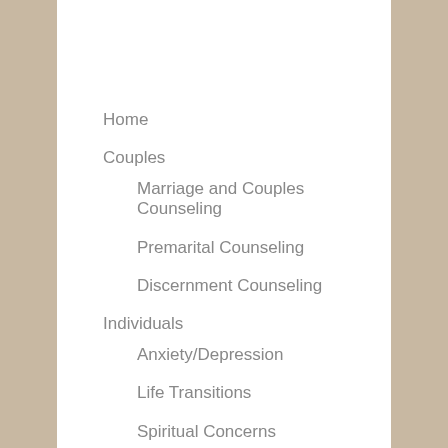Home
Couples
Marriage and Couples Counseling
Premarital Counseling
Discernment Counseling
Individuals
Anxiety/Depression
Life Transitions
Spiritual Concerns
Women's Issues
Grief & Loss
Caregiver Stress